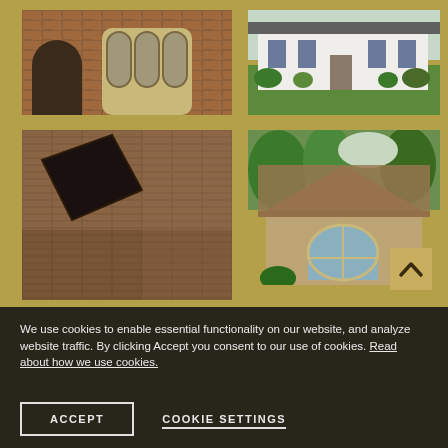[Figure (photo): Brick building facade with arched doorway and arched windows]
[Figure (photo): White house with green lawn and shrubs]
[Figure (photo): Close-up aerial view of brown roof shingles with skylight]
[Figure (photo): Brick house with large arched window and brown roof shingles, trees in background]
We use cookies to enable essential functionality on our website, and analyze website traffic. By clicking Accept you consent to our use of cookies. Read about how we use cookies.
ACCEPT
COOKIE SETTINGS